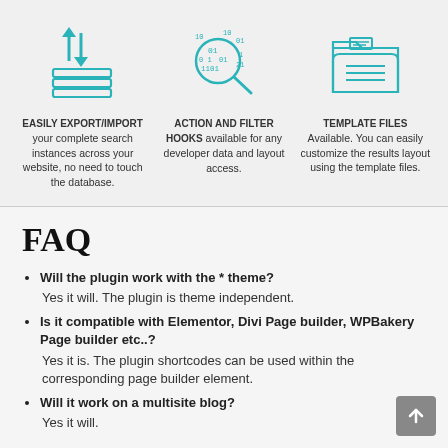[Figure (infographic): Three teal icons: 1) Export/Import icon with up/down arrows and stacked layers. 2) Action and Filter Hooks icon showing a magnifying glass over binary code. 3) Template Files icon showing a folder with documents.]
EASILY EXPORT/IMPORT your complete search instances across your website, no need to touch the database.
ACTION AND FILTER HOOKS available for any developer data and layout access.
TEMPLATE FILES Available. You can easily customize the results layout using the template files.
FAQ
Will the plugin work with the * theme?
Yes it will. The plugin is theme independent.
Is it compatible with Elementor, Divi Page builder, WPBakery Page builder etc..?
Yes it is. The plugin shortcodes can be used within the corresponding page builder element.
Will it work on a multisite blog?
Yes it will.